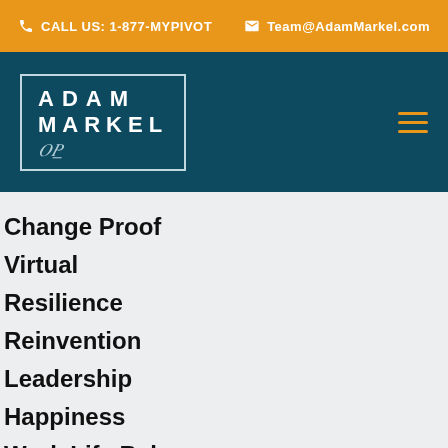CALL US: 1-877-MYPIVOT   Team@AdamMarkel.com
[Figure (logo): Adam Markel logo in a teal rectangle with white bordered box, white text ADAM MARKEL with cursive signature, and orange hamburger menu icon]
Change Proof
Virtual
Resilience
Reinvention
Leadership
Happiness
Work Life Balance
Stress Management
Environmental/Sustainability